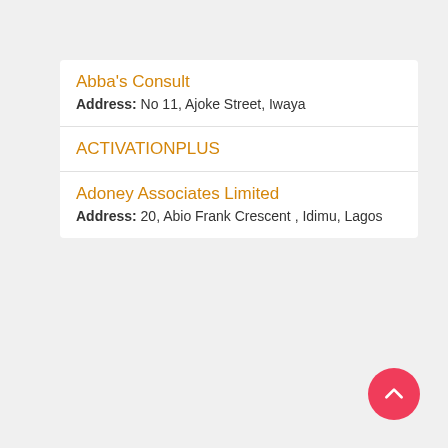Abba's Consult
Address: No 11, Ajoke Street, Iwaya
ACTIVATIONPLUS
Adoney Associates Limited
Address: 20, Abio Frank Crescent , Idimu, Lagos